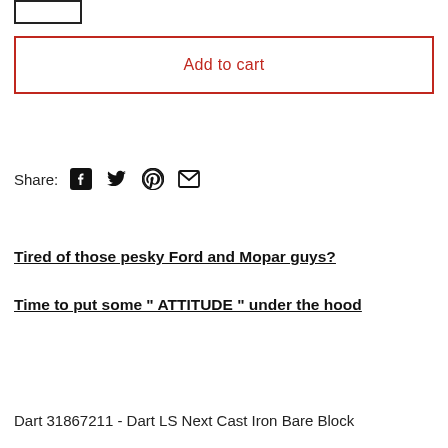[Figure (other): Quantity input box (partial, cropped at top)]
Add to cart
Share:
[Figure (other): Social share icons: Facebook, Twitter, Pinterest, Email]
Tired of those pesky Ford and Mopar guys?
Time to put some " ATTITUDE " under the hood
Dart 31867211 - Dart LS Next Cast Iron Bare Block